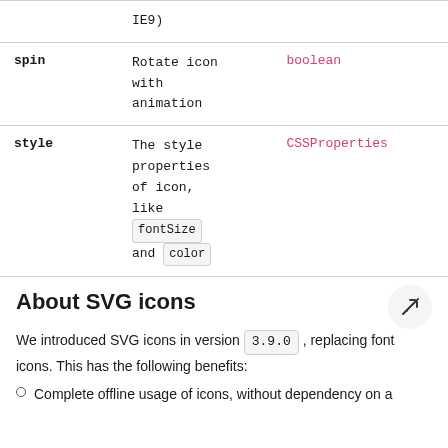|  | Description | Type |
| --- | --- | --- |
|  | IE9) |  |
| spin | Rotate icon with animation | boolean |
| style | The style properties of icon, like fontSize and color | CSSProperties |
About SVG icons
We introduced SVG icons in version 3.9.0 , replacing font icons. This has the following benefits:
Complete offline usage of icons, without dependency on a